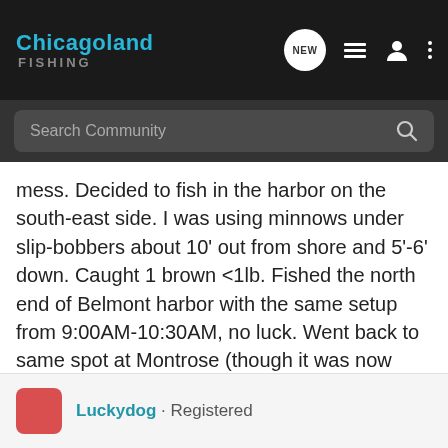Chicagoland FISHING
mess. Decided to fish in the harbor on the south-east side. I was using minnows under slip-bobbers about 10' out from shore and 5'-6' down. Caught 1 brown <1lb. Fished the north end of Belmont harbor with the same setup from 9:00AM-10:30AM, no luck. Went back to same spot at Montrose (though it was now sunny!), same setup, caught a nice 3-4lb. brown and 1 small coho. All on hook and minnow. Not one bite on the venerable night crawler. All fish released. Saw a lot of people fishing for Perch, and none caught that I saw except a few REAL tiny ones.
Luckydog · Registered